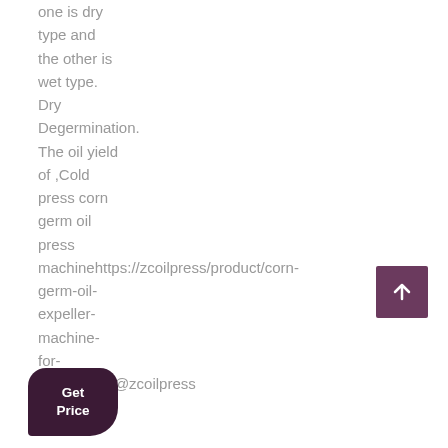one is dry type and the other is wet type. Dry Degermination. The oil yield of ,Cold press corn germ oil press machinehttps://zcoilpress/product/corn-germ-oil-expeller-machine-for-sale/steven@zcoilpress